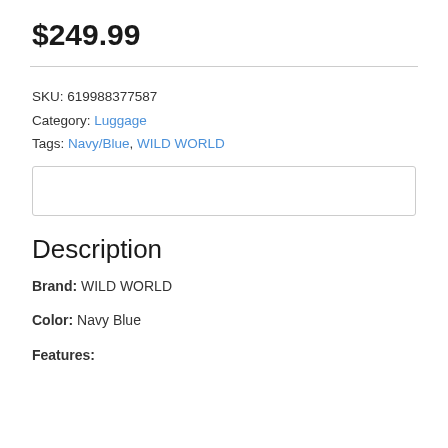$249.99
SKU: 619988377587
Category: Luggage
Tags: Navy/Blue, WILD WORLD
Description
Brand: WILD WORLD
Color: Navy Blue
Features: